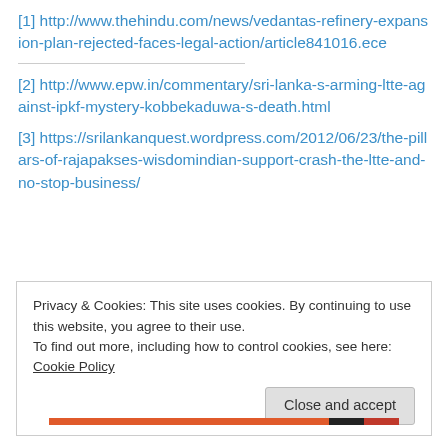[1] http://www.thehindu.com/news/vedantas-refinery-expansion-plan-rejected-faces-legal-action/article841016.ece
[2] http://www.epw.in/commentary/sri-lanka-s-arming-ltte-against-ipkf-mystery-kobbekaduwa-s-death.html
[3] https://srilankanquest.wordpress.com/2012/06/23/the-pillars-of-rajapakses-wisdomindian-support-crash-the-ltte-and-no-stop-business/
Privacy & Cookies: This site uses cookies. By continuing to use this website, you agree to their use.
To find out more, including how to control cookies, see here: Cookie Policy